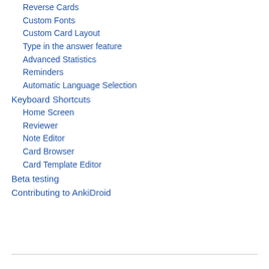Reverse Cards
Custom Fonts
Custom Card Layout
Type in the answer feature
Advanced Statistics
Reminders
Automatic Language Selection
Keyboard Shortcuts
Home Screen
Reviewer
Note Editor
Card Browser
Card Template Editor
Beta testing
Contributing to AnkiDroid